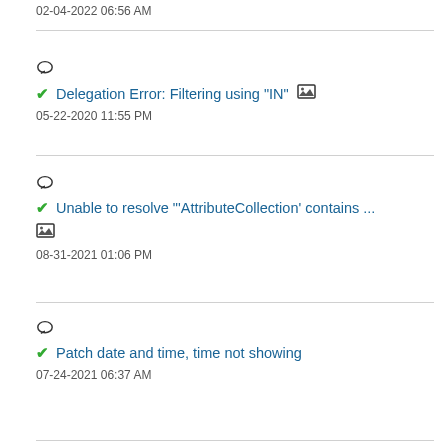02-04-2022 06:56 AM
Delegation Error: Filtering using "IN"
05-22-2020 11:55 PM
Unable to resolve "'AttributeCollection' contains ...
08-31-2021 01:06 PM
Patch date and time, time not showing
07-24-2021 06:37 AM